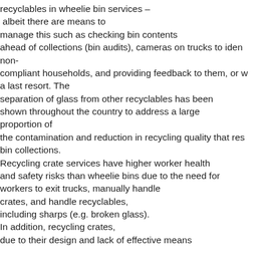recyclables in wheelie bin services – albeit there are means to manage this such as checking bin contents ahead of collections (bin audits), cameras on trucks to identify non-compliant households, and providing feedback to them, or with a last resort. The separation of glass from other recyclables has been shown throughout the country to address a large proportion of the contamination and reduction in recycling quality that results from bin collections. Recycling crate services have higher worker health and safety risks than wheelie bins due to the need for workers to exit trucks, manually handle crates, and handle recyclables, including sharps (e.g. broken glass). In addition, recycling crates, due to their design and lack of effective means